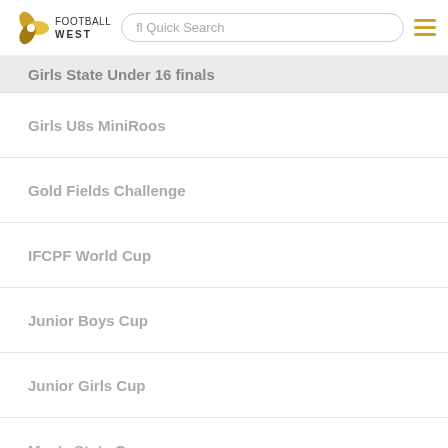Football West — Quick Search navigation bar
Girls State Under 16 finals
Girls U8s MiniRoos
Gold Fields Challenge
IFCPF World Cup
Junior Boys Cup
Junior Girls Cup
Men's State Cup